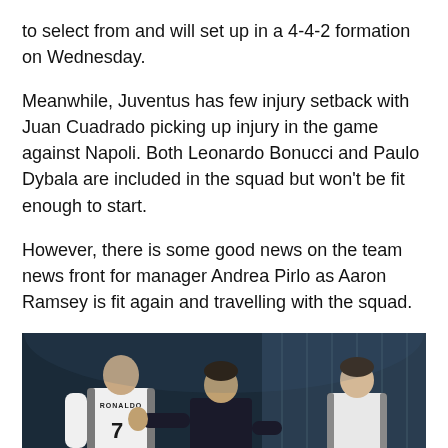to select from and will set up in a 4-4-2 formation on Wednesday.
Meanwhile, Juventus has few injury setback with Juan Cuadrado picking up injury in the game against Napoli. Both Leonardo Bonucci and Paulo Dybala are included in the squad but won't be fit enough to start.
However, there is some good news on the team news front for manager Andrea Pirlo as Aaron Ramsey is fit again and travelling with the squad.
[Figure (photo): A photo showing Cristiano Ronaldo (wearing Juventus white jersey with number 7 and RONALDO on back, Jeep sponsor visible) facing away, while manager Andrea Pirlo gestures with his hand in the center, and another Juventus player stands on the right. Stadium seating visible in dark blue background.]